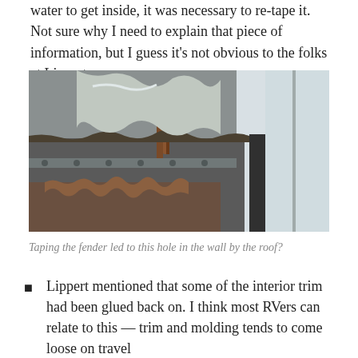water to get inside, it was necessary to re-tape it. Not sure why I need to explain that piece of information, but I guess it's not obvious to the folks at Lippert.
[Figure (photo): Photo showing a hole in the wall of an RV near the roof, with visible rot and damage to the interior wall structure near the fender area. Peeling material and structural damage is visible.]
Taping the fender led to this hole in the wall by the roof?
Lippert mentioned that some of the interior trim had been glued back on. I think most RVers can relate to this — trim and molding tends to come loose on travel